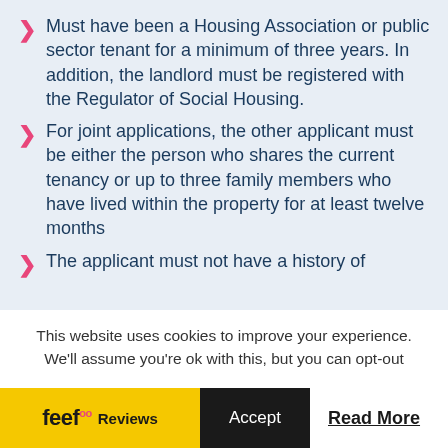Must have been a Housing Association or public sector tenant for a minimum of three years. In addition, the landlord must be registered with the Regulator of Social Housing.
For joint applications, the other applicant must be either the person who shares the current tenancy or up to three family members who have lived within the property for at least twelve months
The applicant must not have a history of
This website uses cookies to improve your experience. We'll assume you're ok with this, but you can opt-out